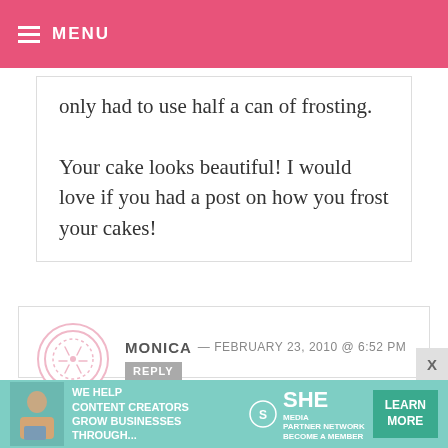MENU
only had to use half a can of frosting.

Your cake looks beautiful! I would love if you had a post on how you frost your cakes!
MONICA — FEBRUARY 23, 2010 @ 6:52 PM REPLY

This cake looks delicious and moist, and probably tastes AMAZING, but I wish it didn't have such a high oil content. I would love it if you recreated
[Figure (infographic): Advertisement banner: SHE Media Partner Network. We help content creators grow businesses through... Learn More button. Person with laptop on left.]